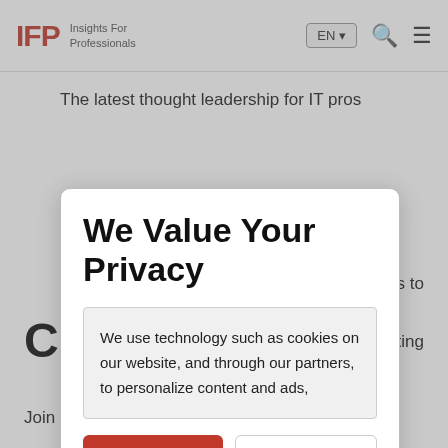IFP Insights For Professionals
The latest thought leadership for IT pros
We Value Your Privacy
We use technology such as cookies on our website, and through our partners, to personalize content and ads,
Accept Terms
Settings
Co
Join